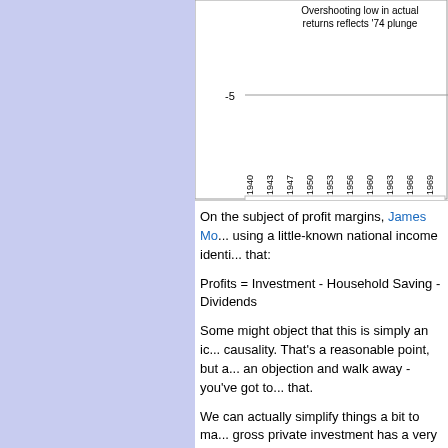[Figure (continuous-plot): Partial view of a line chart showing Projected S&P 500 10-year annualized returns vs Actual subsequent S&P 500 10-year returns from 1940 to 1969. Annotation reads 'Overshooting low in actual returns reflects '74 plunge'. Y-axis shows value of -5 visible. X-axis shows years: 1940, 1943, 1947, 1950, 1953, 1956, 1960, 1963, 1966, 1969. Legend shows blue line for Projected S&P 500 10-year annualized returns and red line for Actual subsequent S&P 500 10-year returns.]
On the subject of profit margins, James Mo... using a little-known national income identi... that:
Profits = Investment - Household Saving - ... Dividends
Some might object that this is simply an ic... causality. That's a reasonable point, but a... an objection and walk away - you've got to... that.
We can actually simplify things a bit to ma... gross private investment has a very strong... ("foreign savings"). Specifically, large incre... invariably financed by running a trade defi... savings to make up the difference. Meanv... don't introduce a lot of variability to the eq...